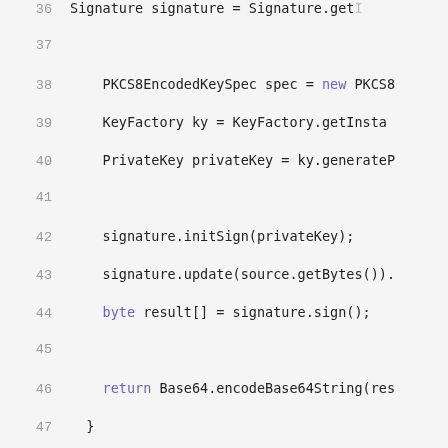[Figure (screenshot): Java source code snippet showing lines 36-56, including RSA signature methods with Javadoc comments. Lines feature syntax highlighting with purple keywords.]